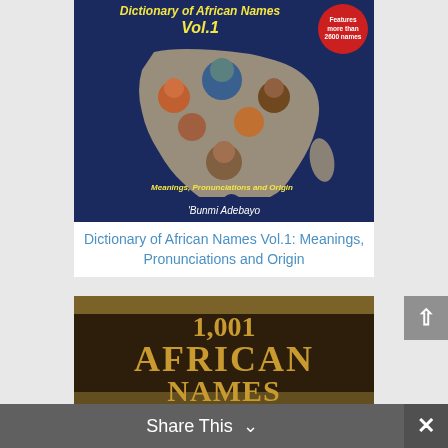[Figure (illustration): Book cover for 'Dictionary of African Names Vol.1: Meanings, Pronunciations and Origin' by 'Bunmi Adebayo. Dark navy blue cover with Africa map shape containing illustrated portraits of African people, yellow title text, red badge saying 'Features more than 2600 names']
Dictionary of African Names Vol.1: Meanings, Pronunciations and Origin
[Figure (illustration): Book cover for '1,001 African Names' with dark brown background and gold/amber large text, decorative striped bands]
Share This ∨